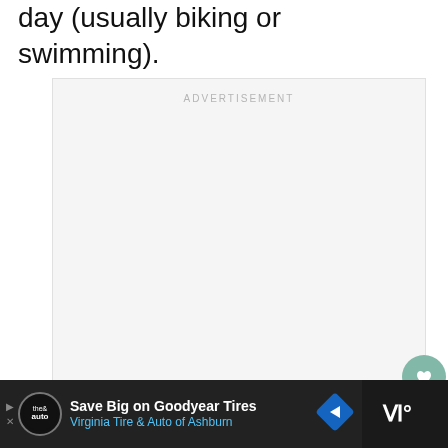day (usually biking or swimming).
[Figure (other): Advertisement placeholder box with 'ADVERTISEMENT' label in light gray text, gray background]
[Figure (other): Heart/like button (teal circle with heart icon) and share button (white circle with share icon), and 'WHAT'S NEXT' card showing 'First Triathlon Experience' with a circular photo]
[Figure (other): Dark advertisement banner at bottom: 'Save Big on Goodyear Tires / Virginia Tire & Auto of Ashburn' with logo, diamond arrow icon, and weather widget on right]